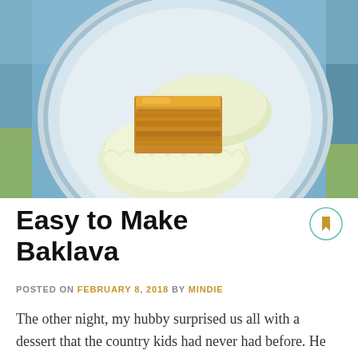[Figure (photo): Photo of baklava pieces served on white cupcake liners on a blue-rimmed plate, with a countryside background visible around the edges.]
Easy to Make Baklava
POSTED ON FEBRUARY 8, 2018 BY MINDIE
The other night, my hubby surprised us all with a dessert that the country kids had never had before. He whipped up some yummy baklava! It was so yummy, the youngest country kid snitch